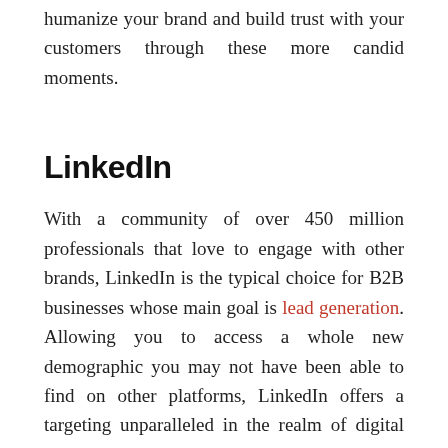humanize your brand and build trust with your customers through these more candid moments.
LinkedIn
With a community of over 450 million professionals that love to engage with other brands, LinkedIn is the typical choice for B2B businesses whose main goal is lead generation. Allowing you to access a whole new demographic you may not have been able to find on other platforms, LinkedIn offers a targeting unparalleled in the realm of digital advertising. However, while the temptation may be to develop as many connections as possible, fewer, more personal connections can often provide greater value.